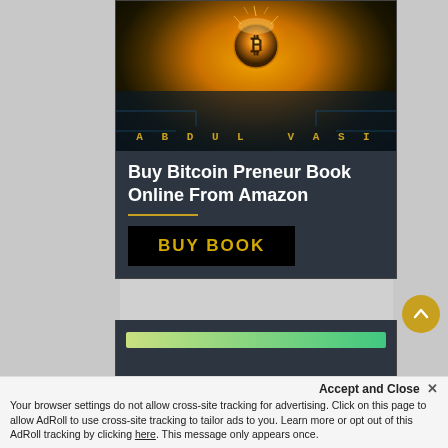[Figure (illustration): Bitcoin coin with glowing fire effect on circuit board background, with text 'ABDUL VASI' at bottom in gold letters]
Buy Bitcoin Preneur Book Online From Amazon
BUY BOOK
[Figure (other): Partial progress bar visible at bottom of page, green gradient bar]
Accept and Close ✕
Your browser settings do not allow cross-site tracking for advertising. Click on this page to allow AdRoll to use cross-site tracking to tailor ads to you. Learn more or opt out of this AdRoll tracking by clicking here. This message only appears once.